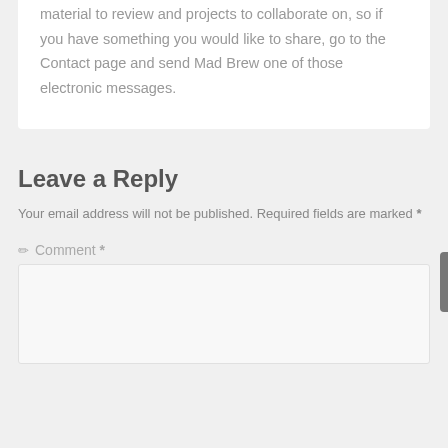material to review and projects to collaborate on, so if you have something you would like to share, go to the Contact page and send Mad Brew one of those electronic messages.
Leave a Reply
Your email address will not be published. Required fields are marked *
✏ Comment *